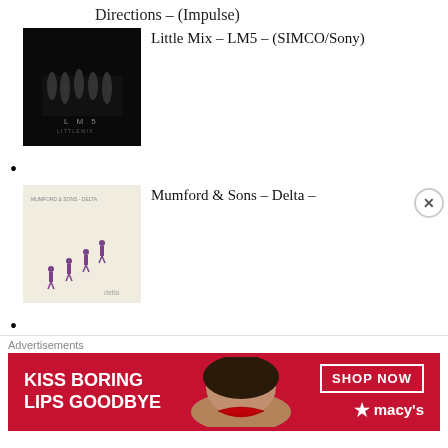Directions – (Impulse)
Little Mix – LM5 – (SIMCO/Sony)
Mumford & Sons – Delta – (Glassnote Entertainment)
[Figure (photo): Album cover for LM5 by Little Mix – black and white group photo with 'LM5 Little Mix' text]
[Figure (photo): Album cover for Delta by Mumford & Sons – beige/cream with small figures walking]
[Figure (photo): Album cover for Old 97's Love The Holidays – green background with band members]
Advertisements
[Figure (photo): Macy's advertisement banner: KISS BORING LIPS GOODBYE – SHOP NOW – macys star logo, woman with red lips on red background]